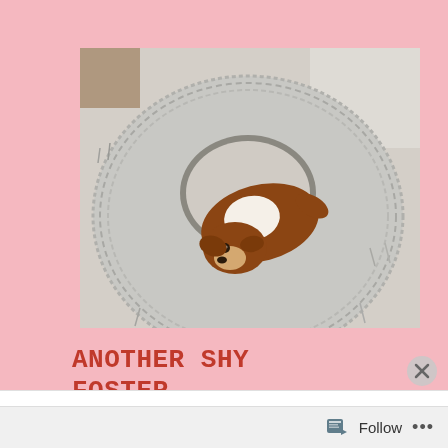[Figure (photo): A small brown and white dog resting in a large round fluffy gray donut-shaped pet bed on a light carpet.]
ANOTHER SHY FOSTER DOG
Advertisements
Professionally designed sites
Follow